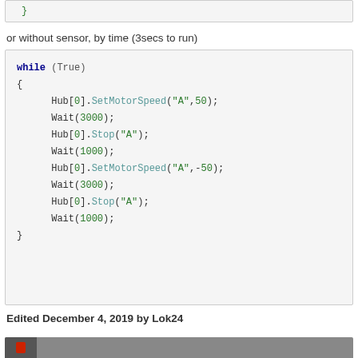}
or without sensor, by time (3secs to run)
while (True)
{
    Hub[0].SetMotorSpeed("A",50);
    Wait(3000);
    Hub[0].Stop("A");
    Wait(1000);
    Hub[0].SetMotorSpeed("A",-50);
    Wait(3000);
    Hub[0].Stop("A");
    Wait(1000);
}
Edited December 4, 2019 by Lok24
[Figure (screenshot): Bottom portion of a page showing a video thumbnail]